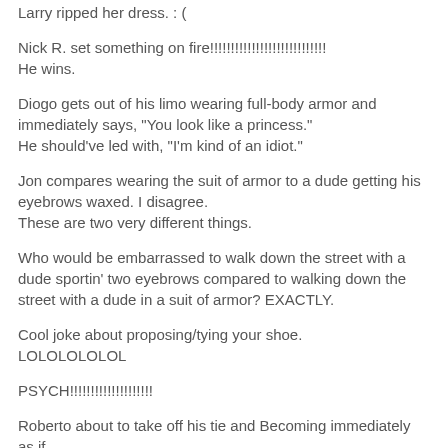Larry ripped her dress. : (
Nick R. set something on fire!!!!!!!!!!!!!!!!!!!!!!!!!!!!
He wins.
Diogo gets out of his limo wearing full-body armor and immediately says, "You look like a princess."
He should've led with, "I'm kind of an idiot."
Jon compares wearing the suit of armor to a dude getting his eyebrows waxed. I disagree.
These are two very different things.
Who would be embarrassed to walk down the street with a dude sportin' two eyebrows compared to walking down the street with a dude in a suit of armor? EXACTLY.
Cool joke about proposing/tying your shoe.
LOLOLOLOLOL
PSYCH!!!!!!!!!!!!!!!!!!!!
Roberto about to take off his tie and Becoming immediately as if...